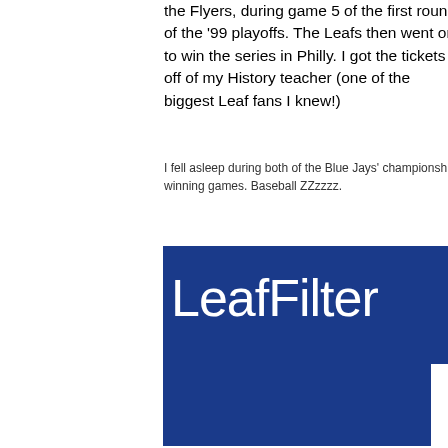the Flyers, during game 5 of the first round of the '99 playoffs. The Leafs then went on to win the series in Philly. I got the tickets off of my History teacher (one of the biggest Leaf fans I knew!)
I fell asleep during both of the Blue Jays' championship winning games. Baseball ZZzzzz.
[Figure (logo): LeafFilter logo — white text on dark blue background rectangles]